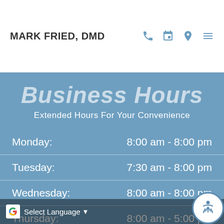MARK FRIED, DMD
Business Hours
Extended Hours For Your Convenience
| Day | Hours |
| --- | --- |
| Monday: | 8:00 am - 8:00 pm |
| Tuesday: | 7:30 am - 8:00 pm |
| Wednesday: | 8:00 am - 8:00 pm |
| Thursday: | 8:00 am - 5:00 pm |
| Friday: | 8:00 am - 2:00 |
Select Language